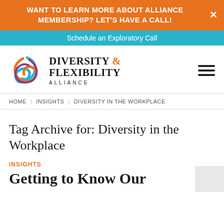WANT TO LEARN MORE ABOUT ALLIANCE MEMBERSHIP? LET'S HAVE A CALL!
Schedule an Exploratory Call
[Figure (logo): Diversity & Flexibility Alliance logo with colorful swirl icon and text]
HOME | INSIGHTS | DIVERSITY IN THE WORKPLACE
Tag Archive for: Diversity in the Workplace
INSIGHTS
Getting to Know Our